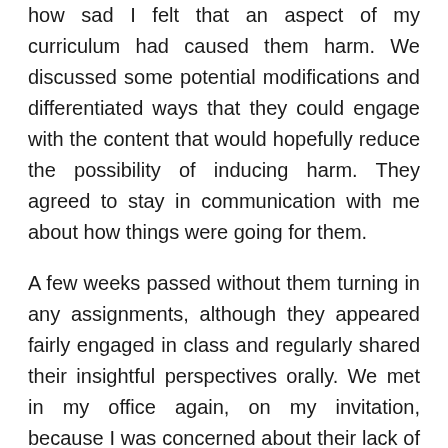how sad I felt that an aspect of my curriculum had caused them harm. We discussed some potential modifications and differentiated ways that they could engage with the content that would hopefully reduce the possibility of inducing harm. They agreed to stay in communication with me about how things were going for them.
A few weeks passed without them turning in any assignments, although they appeared fairly engaged in class and regularly shared their insightful perspectives orally. We met in my office again, on my invitation, because I was concerned about their lack of work submission and apparent lack of reading and preparation before class. After some time of having what felt